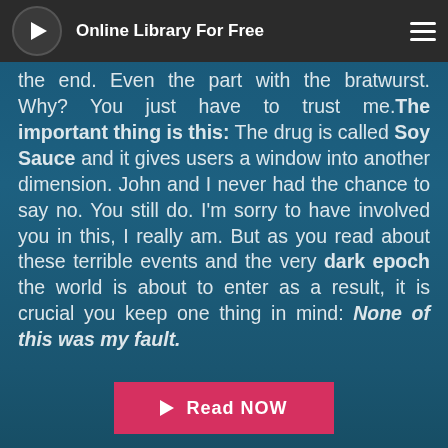Online Library For Free
the end. Even the part with the bratwurst. Why? You just have to trust me. The important thing is this: The drug is called Soy Sauce and it gives users a window into another dimension. John and I never had the chance to say no. You still do. I'm sorry to have involved you in this, I really am. But as you read about these terrible events and the very dark epoch the world is about to enter as a result, it is crucial you keep one thing in mind: None of this was my fault.
[Figure (other): Read NOW button with play icon]